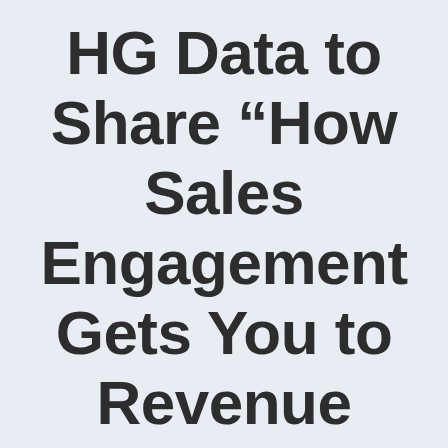HG Data to Share “How Sales Engagement Gets You to Revenue Faster” During